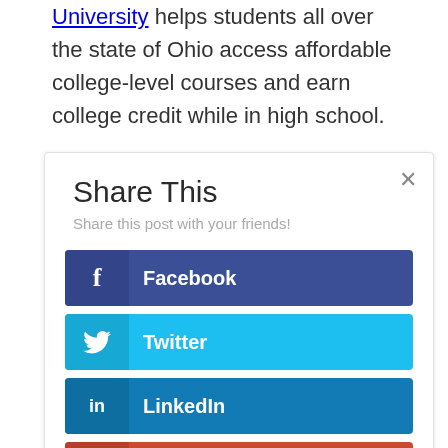University helps students all over the state of Ohio access affordable college-level courses and earn college credit while in high school.
[Figure (screenshot): Share This dialog box with social sharing buttons: Facebook (dark blue), Twitter (light blue), LinkedIn (medium blue), Gmail (red). Includes close X button and subtitle 'Share this post with your friends!']